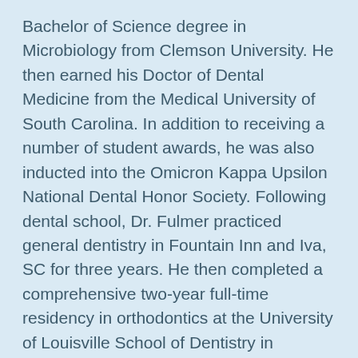Bachelor of Science degree in Microbiology from Clemson University. He then earned his Doctor of Dental Medicine from the Medical University of South Carolina. In addition to receiving a number of student awards, he was also inducted into the Omicron Kappa Upsilon National Dental Honor Society. Following dental school, Dr. Fulmer practiced general dentistry in Fountain Inn and Iva, SC for three years. He then completed a comprehensive two-year full-time residency in orthodontics at the University of Louisville School of Dentistry in Kentucky and has been a certified specialist in the field of orthodontics in Mauldin since 1987.
Dr. Fulmer and his wife Shirley have been married for over 35 years. They are the proud parents of one